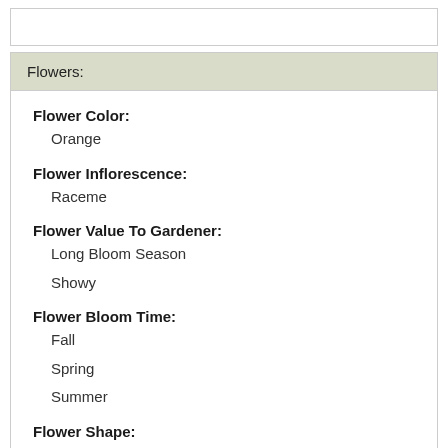Flowers:
Flower Color:
Orange
Flower Inflorescence:
Raceme
Flower Value To Gardener:
Long Bloom Season
Showy
Flower Bloom Time:
Fall
Spring
Summer
Flower Shape:
Trumpet